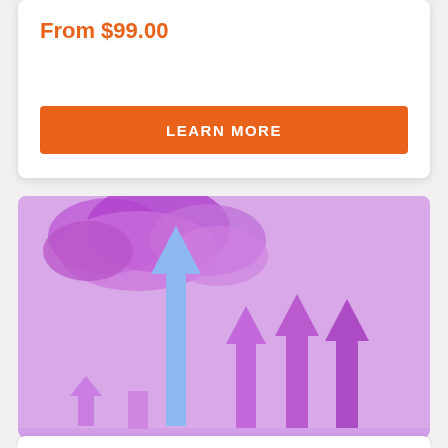From $99.00
LEARN MORE
[Figure (illustration): 3D illustration on a pink/purple background showing multiple upward-pointing arrows of varying heights. A prominent tall blue/light-blue arrow in the center-left shoots up through a purple cloud at the top. Surrounding it are smaller purple arrows of different heights arranged from left to right, suggesting growth or rising metrics.]